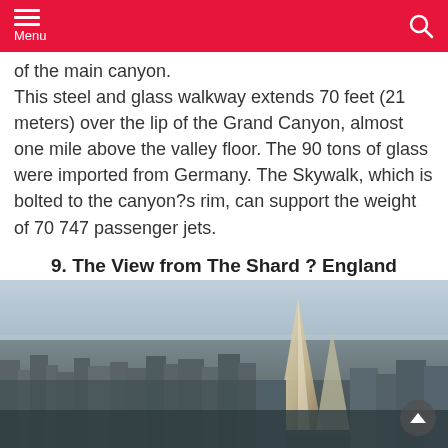Menu
of the main canyon.
This steel and glass walkway extends 70 feet (21 meters) over the lip of the Grand Canyon, almost one mile above the valley floor. The 90 tons of glass were imported from Germany. The Skywalk, which is bolted to the canyon?s rim, can support the weight of 70 747 passenger jets.
9. The View from The Shard ? England
[Figure (photo): Aerial photograph of London skyline showing The Shard skyscraper and dense urban cityscape under a hazy sky.]